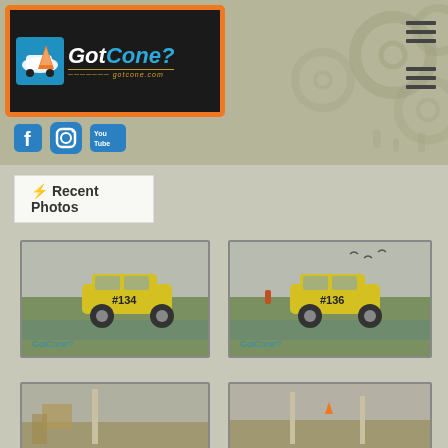[Figure (logo): GotCone? website logo with orange border on dark background, showing a cone/car icon and gotcone.com URL]
[Figure (infographic): Hamburger menu icons (top right)]
[Figure (infographic): Social media icons: Facebook, Instagram, YouTube]
[Figure (infographic): Decorative gear/target circles on right side of header banner]
⚡ Recent Photos
[Figure (photo): Yellow race car #134 on green field, GotCone? watermark]
[Figure (photo): Yellow race car #136 on green field, GotCone? watermark]
[Figure (photo): Outdoor scene with post/structure, partial view]
[Figure (photo): Outdoor scene with post/cone, partial view]